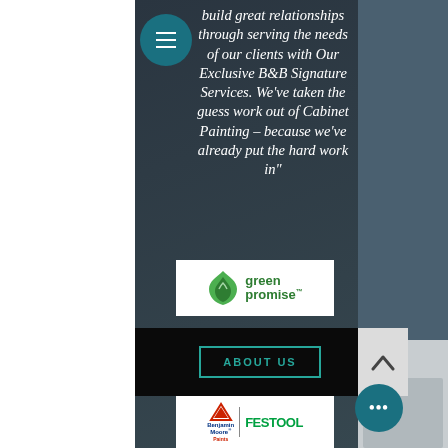[Figure (screenshot): Website screenshot showing a dark-themed page with italic white quote text, a teal hamburger menu button, a Green Promise logo badge, an ABOUT US button on black bar, an up-arrow navigation button, and a Benjamin Moore / Festool logo badge at the bottom. The left side has a white strip and the right side shows a partial kitchen photo.]